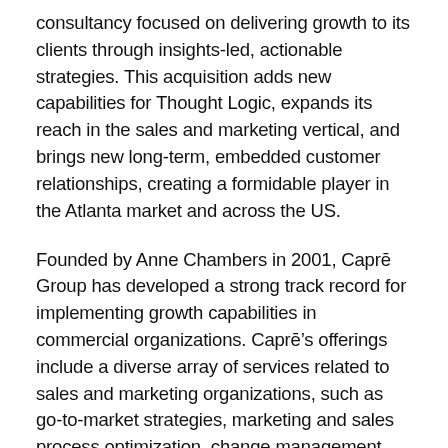consultancy focused on delivering growth to its clients through insights-led, actionable strategies. This acquisition adds new capabilities for Thought Logic, expands its reach in the sales and marketing vertical, and brings new long-term, embedded customer relationships, creating a formidable player in the Atlanta market and across the US.
Founded by Anne Chambers in 2001, Caprē Group has developed a strong track record for implementing growth capabilities in commercial organizations. Caprē's offerings include a diverse array of services related to sales and marketing organizations, such as go-to-market strategies, marketing and sales process optimization, change management, and insights-led joint business planning.
“We are excited to welcome the Caprē team and their deep customer roster into the Thought Logic family,” said Keith Roberts, Founder and CEO of Thought Logic. “Through this acquisition we gain new capabilities that will